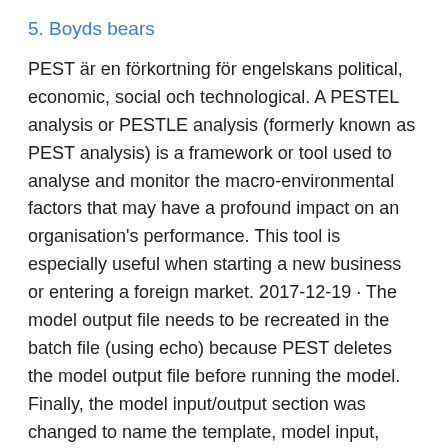5. Boyds bears
PEST är en förkortning för engelskans political, economic, social och technological. A PESTEL analysis or PESTLE analysis (formerly known as PEST analysis) is a framework or tool used to analyse and monitor the macro-environmental factors that may have a profound impact on an organisation's performance. This tool is especially useful when starting a new business or entering a foreign market. 2017-12-19 · The model output file needs to be recreated in the batch file (using echo) because PEST deletes the model output file before running the model. Finally, the model input/output section was changed to name the template, model input, instruction, and model output files.